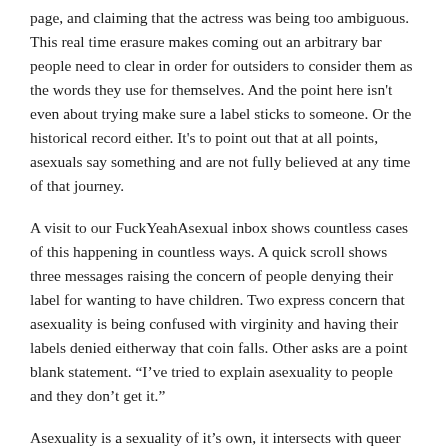page, and claiming that the actress was being too ambiguous. This real time erasure makes coming out an arbitrary bar people need to clear in order for outsiders to consider them as the words they use for themselves. And the point here isn't even about trying make sure a label sticks to someone. Or the historical record either. It's to point out that at all points, asexuals say something and are not fully believed at any time of that journey.
A visit to our FuckYeahAsexual inbox shows countless cases of this happening in countless ways. A quick scroll shows three messages raising the concern of people denying their label for wanting to have children. Two express concern that asexuality is being confused with virginity and having their labels denied eitherway that coin falls. Other asks are a point blank statement. “I've tried to explain asexuality to people and they don’t get it.”
Asexuality is a sexuality of it’s own, it intersects with queer